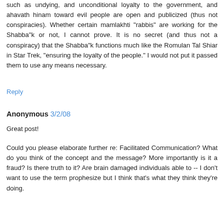such as undying, and unconditional loyalty to the government, and ahavath hinam toward evil people are open and publicized (thus not conspiracies). Whether certain mamlakhti "rabbis" are working for the Shabba"k or not, I cannot prove. It is no secret (and thus not a conspiracy) that the Shabba"k functions much like the Romulan Tal Shiar in Star Trek, "ensuring the loyalty of the people." I would not put it passed them to use any means necessary.
Reply
Anonymous 3/2/08
Great post!
Could you please elaborate further re: Facilitated Communication? What do you think of the concept and the message? More importantly is it a fraud? Is there truth to it? Are brain damaged individuals able to -- I don't want to use the term prophesize but I think that's what they think they're doing.